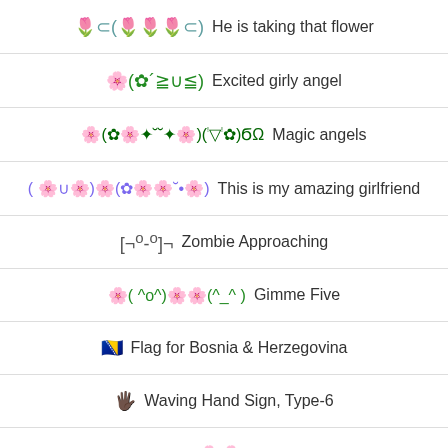🌷⊂(🌷🌷🌷⊂)  He is taking that flower
🌸(✿´≧∪≦)  Excited girly angel
🌸(✿🌸✦˘˘✦🌸)(ᵎ▽ᵎ✿)Ϭ  Magic angels
( 🌸∪🌸)🌸(✿🌸🌸˘•🌸)  This is my amazing girlfriend
[¬º-°]¬  Zombie Approaching
🌸( ^o^)🌸🌸(^_^ )  Gimme Five
🇧🇦  Flag for Bosnia & Herzegovina
🖐🏿  Waving Hand Sign, Type-6
🌸🌸